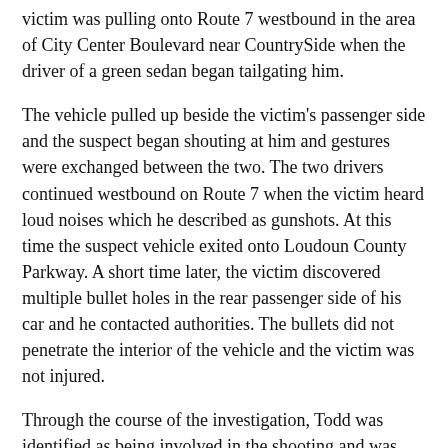victim was pulling onto Route 7 westbound in the area of City Center Boulevard near CountrySide when the driver of a green sedan began tailgating him.
The vehicle pulled up beside the victim's passenger side and the suspect began shouting at him and gestures were exchanged between the two. The two drivers continued westbound on Route 7 when the victim heard loud noises which he described as gunshots. At this time the suspect vehicle exited onto Loudoun County Parkway. A short time later, the victim discovered multiple bullet holes in the rear passenger side of his car and he contacted authorities. The bullets did not penetrate the interior of the vehicle and the victim was not injured.
Through the course of the investigation, Todd was identified as being involved in the shooting and was served on the three charges on June 2.
Todd has been held at the Loudoun County Detention Center since Jan. 27 on charges related to a separate shooting in the Lansdowne area. In that case, Todd and Timothy R. Vaughn, 20, of Ashburn, were both charged with two counts of attempted first-degree